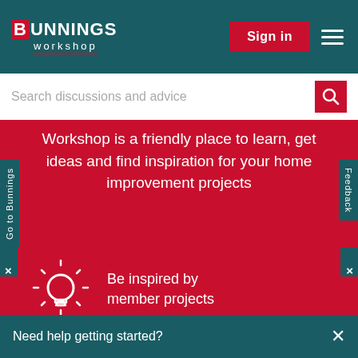[Figure (screenshot): Bunnings Workshop website header with logo, Sign in button, and hamburger menu on dark teal background]
Search discussions and advice
Workshop is a friendly place to learn, get ideas and find inspiration for your home improvement projects
Be inspired by member projects
Ask your D.I.Y. questions
Need help getting started?